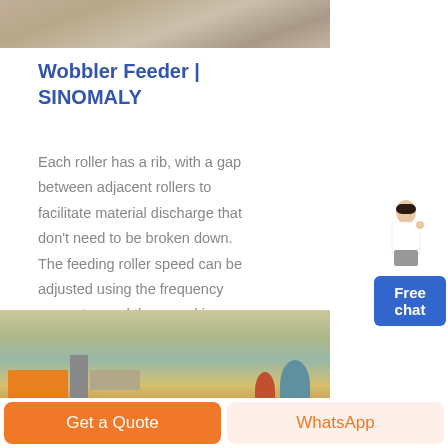[Figure (photo): Close-up photo of industrial machinery part, brownish metallic surface]
Wobbler Feeder | SINOMALY
Each roller has a rib, with a gap between adjacent rollers to facilitate material discharge that don't need to be broken down. The feeding roller speed can be adjusted using the frequency converter, and the speed is
[Figure (photo): Outdoor construction or mining site photograph showing machinery and equipment]
Get a Quote
WhatsApp